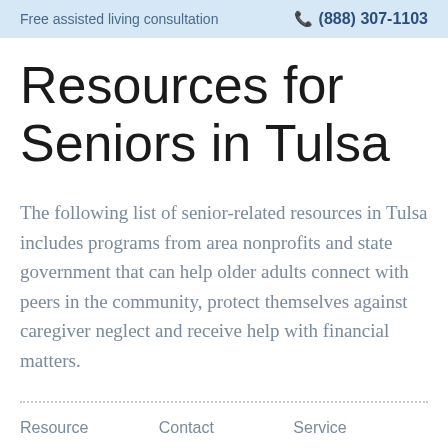Free assisted living consultation   ☎ (888) 307-1103
Resources for Seniors in Tulsa
The following list of senior-related resources in Tulsa includes programs from area nonprofits and state government that can help older adults connect with peers in the community, protect themselves against caregiver neglect and receive help with financial matters.
| Resource | Contact | Service |
| --- | --- | --- |